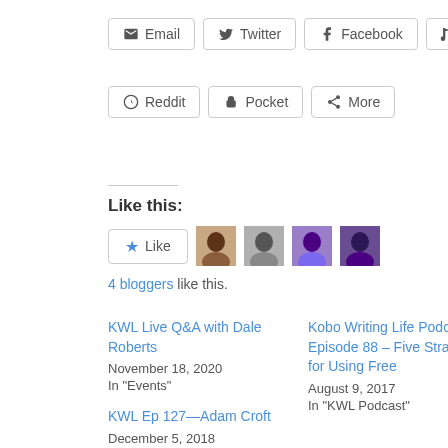Email
Twitter
Facebook
Tumblr
Reddit
Pocket
More
Like this:
4 bloggers like this.
KWL Live Q&A with Dale Roberts
November 18, 2020
In "Events"
Kobo Writing Life Podcast – Episode 88 – Five Strategies for Using Free
August 9, 2017
In "KWL Podcast"
KWL Ep 127—Adam Croft
December 5, 2018
In "KWL Podcast"